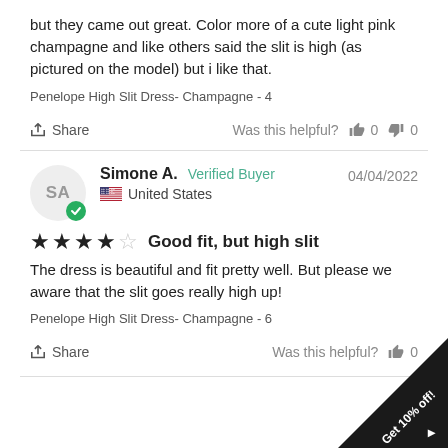but they came out great. Color more of a cute light pink champagne and like others said the slit is high (as pictured on the model) but i like that.
Penelope High Slit Dress- Champagne - 4
Share   Was this helpful? 👍 0 👎 0
Simone A.   Verified Buyer   04/04/2022   United States
★★★★☆ Good fit, but high slit
The dress is beautiful and fit pretty well. But please we aware that the slit goes really high up!
Penelope High Slit Dress- Champagne - 6
Share   Was this helpful? 👍 0
Get 10% off!